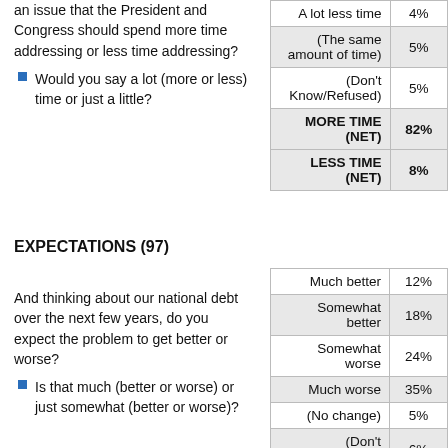an issue that the President and Congress should spend more time addressing or less time addressing?
Would you say a lot (more or less) time or just a little?
| Response | Pct |
| --- | --- |
| A lot less time | 4% |
| (The same amount of time) | 5% |
| (Don't Know/Refused) | 5% |
| MORE TIME (NET) | 82% |
| LESS TIME (NET) | 8% |
EXPECTATIONS (97)
And thinking about our national debt over the next few years, do you expect the problem to get better or worse?
Is that much (better or worse) or just somewhat (better or worse)?
| Response | Pct |
| --- | --- |
| Much better | 12% |
| Somewhat better | 18% |
| Somewhat worse | 24% |
| Much worse | 35% |
| (No change) | 5% |
| (Don't know/Refused) | 6% |
| BETTER (NET) | 30% |